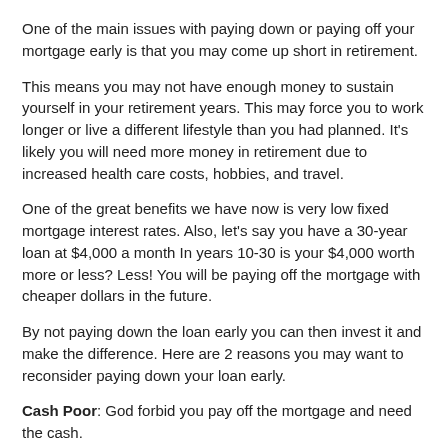One of the main issues with paying down or paying off your mortgage early is that you may come up short in retirement.
This means you may not have enough money to sustain yourself in your retirement years. This may force you to work longer or live a different lifestyle than you had planned. It's likely you will need more money in retirement due to increased health care costs, hobbies, and travel.
One of the great benefits we have now is very low fixed mortgage interest rates. Also, let's say you have a 30-year loan at $4,000 a month In years 10-30 is your $4,000 worth more or less? Less! You will be paying off the mortgage with cheaper dollars in the future.
By not paying down the loan early you can then invest it and make the difference. Here are 2 reasons you may want to reconsider paying down your loan early.
Cash Poor: God forbid you pay off the mortgage and need the cash. High Costs: Should you need to take the equity back out of the home the closing cost for a Home Equity Line of Credit or refinance can be very costly.